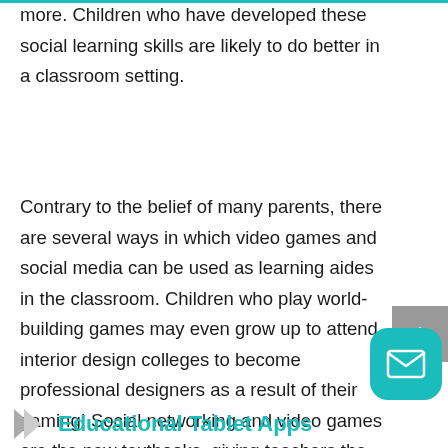empathy, friendliness, team-work, manners, and more. Children who have developed these social learning skills are likely to do better in a classroom setting.
Contrary to the belief of many parents, there are several ways in which video games and social media can be used as learning aides in the classroom. Children who play world-building games may even grow up to attend interior design colleges to become professional designers as a result of their gaming! Social networking and video games are the new textbooks, giving teachers the tools they need to teach every student.
Educational Tablet Apps